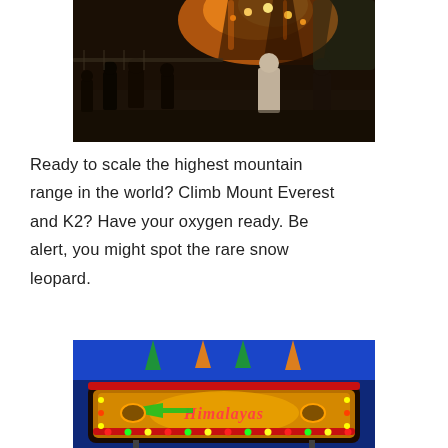[Figure (photo): Nighttime photo of people at a fairground or carnival, with colorful orange and yellow ride lights illuminating the dark sky in the background. Several people are standing in the foreground.]
Ready to scale the highest mountain range in the world?  Climb Mount Everest and K2?  Have your oxygen ready.  Be alert, you might spot the rare snow leopard.
[Figure (photo): Photo of a brightly illuminated carnival ride sign reading 'Himalayas' decorated with colorful lights in red, yellow, and green against a deep blue twilight sky.]